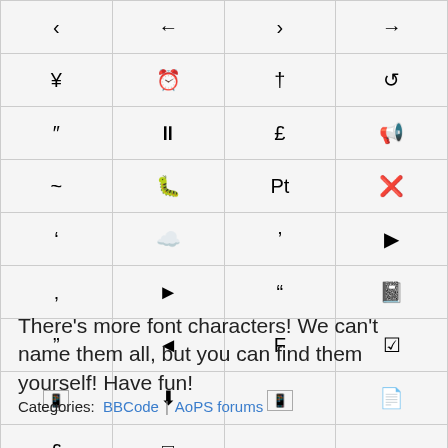| ‹ | ← | › | → |
| ¥ | 🕐 | † | ↺ |
| ″ | ⏸ | £ | 📢 |
| ~ | 🐛 | Pt | ✖ |
| ' | ⬇(cloud) | ' | ▶ |
| ‚ | ▶(circle) | “ | 📓 |
| " | ◀ | F | ☑ |
| [img] | ↓ | [img] | 📄 |
| £ | □ |  |  |
There's more font characters! We can't name them all, but you can find them yourself! Have fun!
Categories:  BBCode | AoPS forums